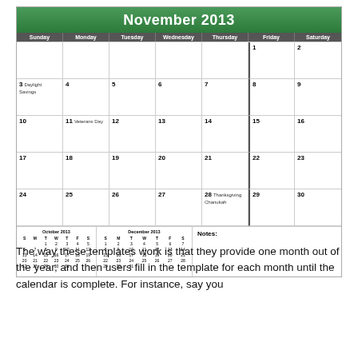[Figure (other): November 2013 monthly calendar with days, events (Daylight Savings, Veterans Day, Thanksgiving, Chanukah), mini October and December 2013 calendars, and Notes section]
The way these templates work is that they provide one month out of the year, and then users fill in the template for each month until the calendar is complete. For instance, say you